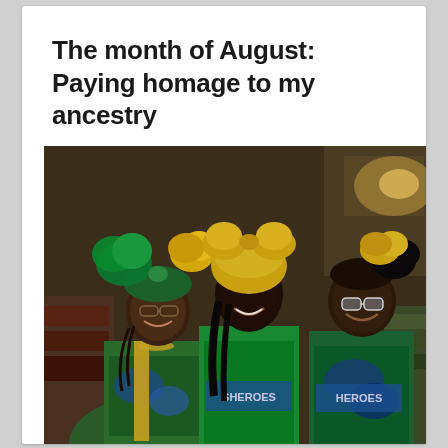The month of August: Paying homage to my ancestry
[Figure (photo): Three women smiling together wearing colorful green, yellow, and blue carnival or cultural celebration costumes and elaborate headpieces with yellow and green fabric bows. They appear to be at a cultural festival or parade event. Text on their costumes appears to read 'SHEROES' and 'HEROES'.]